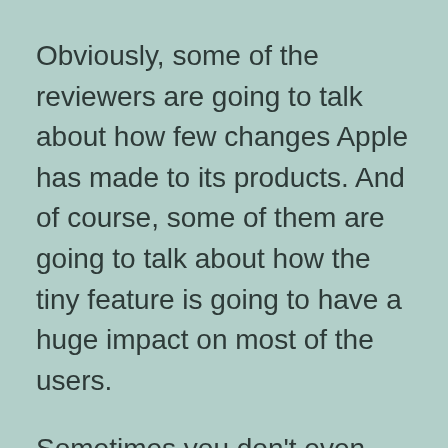Obviously, some of the reviewers are going to talk about how few changes Apple has made to its products. And of course, some of them are going to talk about how the tiny feature is going to have a huge impact on most of the users.
Sometimes you don't even notice when the reviewers are actually manipulating us. But yet it happens. To be honest I frankly don't like the way most of the YouTubers are going to talk about. I mostly am going to disagree with them for most of the part.